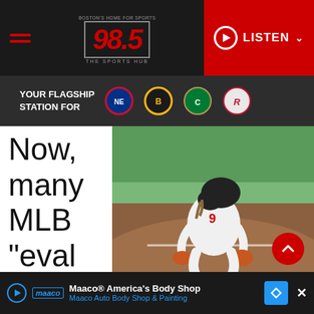98.5 The Sports Hub — Boston's Home for Sports
[Figure (logo): 98.5 The Sports Hub radio station logo with red text on dark background]
[Figure (infographic): YOUR FLAGSHIP STATION FOR banner with New England Patriots, Boston Bruins, Boston Celtics, and Pawtucket Red Sox team logos]
Now, many MLB "evaluators" look at it as entir
[Figure (photo): A Boston Red Sox baseball player in white uniform crouching down on the dirt infield, wearing a black helmet]
USA TODAY Sports
[Figure (screenshot): Advertisement: Maaco® America's Body Shop — Maaco Auto Body Shop & Painting]